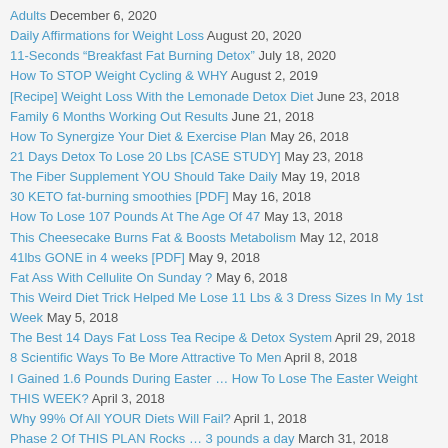Adults December 6, 2020
Daily Affirmations for Weight Loss August 20, 2020
11-Seconds “Breakfast Fat Burning Detox” July 18, 2020
How To STOP Weight Cycling & WHY August 2, 2019
[Recipe] Weight Loss With the Lemonade Detox Diet June 23, 2018
Family 6 Months Working Out Results June 21, 2018
How To Synergize Your Diet & Exercise Plan May 26, 2018
21 Days Detox To Lose 20 Lbs [CASE STUDY] May 23, 2018
The Fiber Supplement YOU Should Take Daily May 19, 2018
30 KETO fat-burning smoothies [PDF] May 16, 2018
How To Lose 107 Pounds At The Age Of 47 May 13, 2018
This Cheesecake Burns Fat & Boosts Metabolism May 12, 2018
41lbs GONE in 4 weeks [PDF] May 9, 2018
Fat Ass With Cellulite On Sunday ? May 6, 2018
This Weird Diet Trick Helped Me Lose 11 Lbs & 3 Dress Sizes In My 1st Week May 5, 2018
The Best 14 Days Fat Loss Tea Recipe & Detox System April 29, 2018
8 Scientific Ways To Be More Attractive To Men April 8, 2018
I Gained 1.6 Pounds During Easter … How To Lose The Easter Weight THIS WEEK? April 3, 2018
Why 99% Of All YOUR Diets Will Fail? April 1, 2018
Phase 2 Of THIS PLAN Rocks … 3 pounds a day March 31, 2018
This Weird Diet Trick Helped Me Lose 11 Lbs & 3 Dress Sizes In My 1st Week